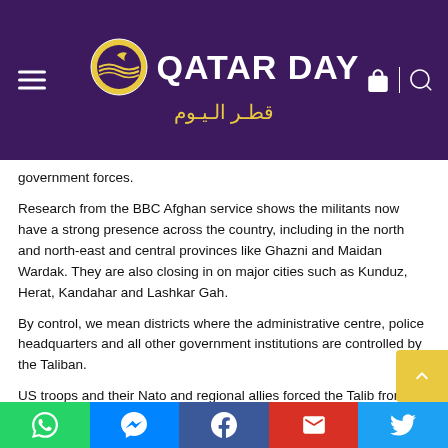Qatar Day - قطر اليوم
...government forces.
Research from the BBC Afghan service shows the militants now have a strong presence across the country, including in the north and north-east and central provinces like Ghazni and Maidan Wardak. They are also closing in on major cities such as Kunduz, Herat, Kandahar and Lashkar Gah.
By control, we mean districts where the administrative centre, police headquarters and all other government institutions are controlled by the Taliban.
US troops and their Nato and regional allies forced the Talib... from power in November 2001. The group had been...